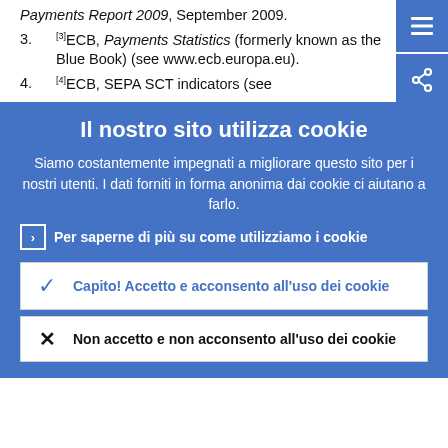Payments Report 2009, September 2009.
[3]ECB, Payments Statistics (formerly known as the Blue Book) (see www.ecb.europa.eu).
[4]ECB, SEPA SCT indicators (see
Il nostro sito utilizza cookie
Siamo costantemente impegnati a migliorare questo sito per i nostri utenti. I dati forniti in forma anonima dai cookie ci aiutano a farlo.
Per saperne di più su come utilizziamo i cookie
Capito! Accetto e acconsento all'uso dei cookie
Non accetto e non acconsento all'uso dei cookie